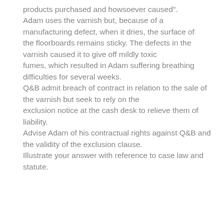products purchased and howsoever caused". Adam uses the varnish but, because of a manufacturing defect, when it dries, the surface of the floorboards remains sticky. The defects in the varnish caused it to give off mildly toxic fumes, which resulted in Adam suffering breathing difficulties for several weeks. Q&B admit breach of contract in relation to the sale of the varnish but seek to rely on the exclusion notice at the cash desk to relieve them of liability. Advise Adam of his contractual rights against Q&B and the validity of the exclusion clause. Illustrate your answer with reference to case law and statute.